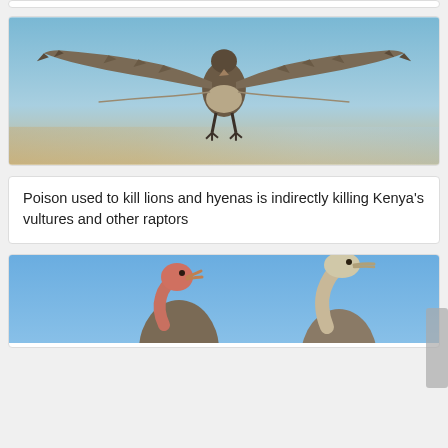[Figure (photo): A vulture photographed in flight from below against a blue sky, wings fully spread, talons dangling, brown and grey feathers visible.]
Poison used to kill lions and hyenas is indirectly killing Kenya's vultures and other raptors
[Figure (photo): Two vultures against a blue sky, one with a red/pink head and open beak, another with a pale elongated neck, partial image at bottom of page.]